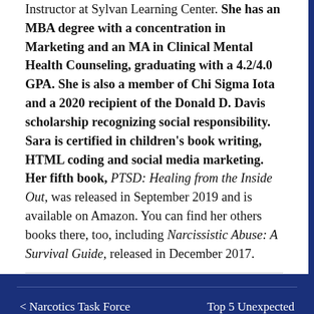Instructor at Sylvan Learning Center. She has an MBA degree with a concentration in Marketing and an MA in Clinical Mental Health Counseling, graduating with a 4.2/4.0 GPA. She is also a member of Chi Sigma Iota and a 2020 recipient of the Donald D. Davis scholarship recognizing social responsibility. Sara is certified in children's book writing, HTML coding and social media marketing. Her fifth book, PTSD: Healing from the Inside Out, was released in September 2019 and is available on Amazon. You can find her others books there, too, including Narcissistic Abuse: A Survival Guide, released in December 2017.
Read more articles by Sara E. Teller
< Narcotics Task Force
Top 5 Unexpected